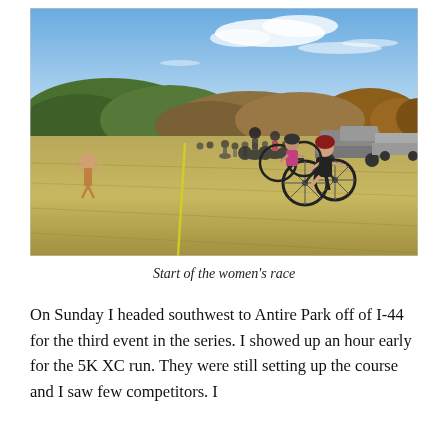[Figure (photo): Cyclists racing across an open grassy field at the start of a women's cyclocross race. Rolling tree-covered hills visible in the background under a partly cloudy blue sky. Several vehicles parked on the right. A race official stands on the left.]
Start of the women's race
On Sunday I headed southwest to Antire Park off of I-44 for the third event in the series. I showed up an hour early for the 5K XC run. They were still setting up the course and I saw few competitors. I